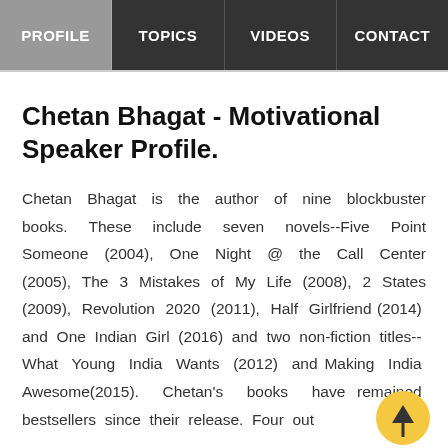PROFILE | TOPICS | VIDEOS | CONTACT
Chetan Bhagat - Motivational Speaker Profile.
Chetan Bhagat is the author of nine blockbuster books. These include seven novels--Five Point Someone (2004), One Night @ the Call Center (2005), The 3 Mistakes of My Life (2008), 2 States (2009), Revolution 2020 (2011), Half Girlfriend (2014) and One Indian Girl (2016) and two non-fiction titles-- What Young India Wants (2012) and Making India Awesome(2015). Chetan's books have remained bestsellers since their release. Four out